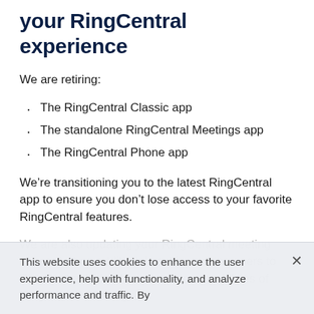your RingCentral experience
We are retiring:
The RingCentral Classic app
The standalone RingCentral Meetings app
The RingCentral Phone app
We’re transitioning you to the latest RingCentral app to ensure you don’t lose access to your favorite RingCentral features.
We are also updating your RingCentral meeting services at no additional cost by moving users to RingCentral Video from the older capabilities of RingCentral Meetings,
This website uses cookies to enhance the user experience, help with functionality, and analyze performance and traffic. By